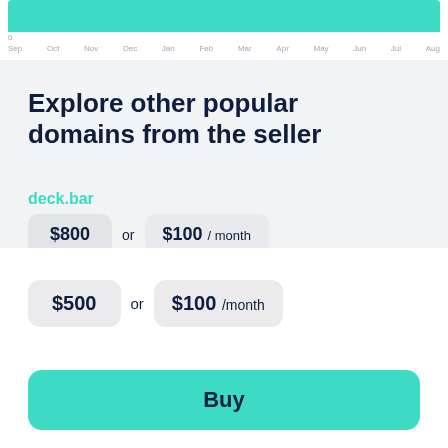[Figure (area-chart): Partial area chart showing green filled area near top with x-axis labels Sep, Oct, Nov, Dec, Jan, Feb, Mar, Apr, May, Jun, Jul, Aug and y-axis value 0]
Explore other popular domains from the seller
deck.bar
$800 or $100 / month
$500 or $100 /month
Buy